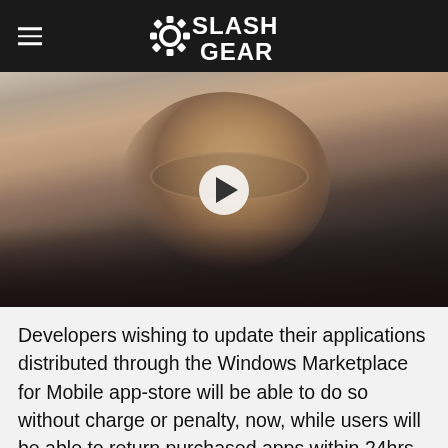SlashGear
[Figure (photo): Photo of a man with sunglasses, goatee, and earring, smiling, with a video play button overlay. Background appears to be a stone wall.]
Developers wishing to update their applications distributed through the Windows Marketplace for Mobile app-store will be able to do so without charge or penalty, now, while users will be able to return purchased apps within 24hrs for a refund.  Other developers onboard include MySpace, Namco, Pandora